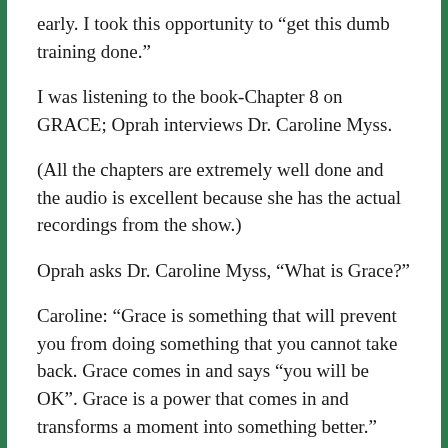early. I took this opportunity to “get this dumb training done.”
I was listening to the book-Chapter 8 on GRACE; Oprah interviews Dr. Caroline Myss.
(All the chapters are extremely well done and the audio is excellent because she has the actual recordings from the show.)
Oprah asks Dr. Caroline Myss, “What is Grace?”
Caroline: “Grace is something that will prevent you from doing something that you cannot take back. Grace comes in and says “you will be OK”. Grace is a power that comes in and transforms a moment into something better.”